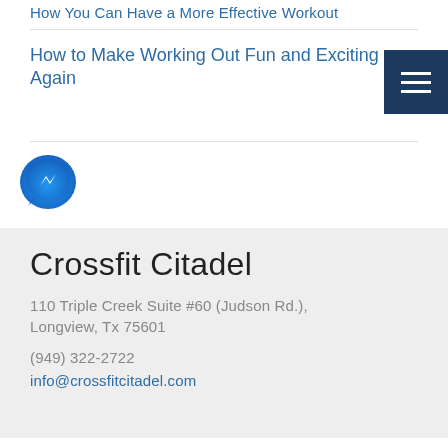How You Can Have a More Effective Workout
How to Make Working Out Fun and Exciting Again
[Figure (logo): Facebook Messenger app icon — blue circle with white lightning bolt speech bubble]
Crossfit Citadel
110 Triple Creek Suite #60 (Judson Rd.),
Longview, Tx 75601
(949) 322-2722
info@crossfitcitadel.com